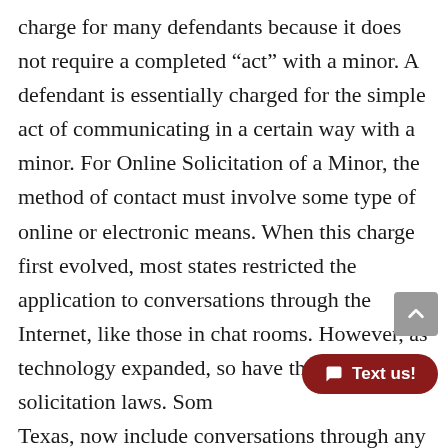charge for many defendants because it does not require a completed “act” with a minor. A defendant is essentially charged for the simple act of communicating in a certain way with a minor. For Online Solicitation of a Minor, the method of contact must involve some type of online or electronic means. When this charge first evolved, most states restricted the application to conversations through the Internet, like those in chat rooms. However, as technology expanded, so have the online solicitation laws. Some, like Texas, now include conversations through any